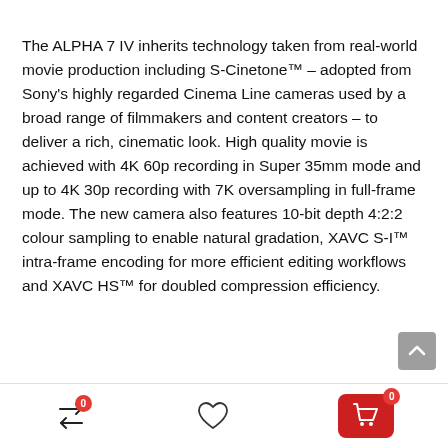The ALPHA 7 IV inherits technology taken from real-world movie production including S-Cinetone™ – adopted from Sony's highly regarded Cinema Line cameras used by a broad range of filmmakers and content creators – to deliver a rich, cinematic look. High quality movie is achieved with 4K 60p recording in Super 35mm mode and up to 4K 30p recording with 7K oversampling in full-frame mode. The new camera also features 10-bit depth 4:2:2 colour sampling to enable natural gradation, XAVC S-I™ intra-frame encoding for more efficient editing workflows and XAVC HS™ for doubled compression efficiency.
[Figure (other): Bottom navigation bar with compare icon (badge 0), heart/wishlist icon, and red cart button (badge 0)]